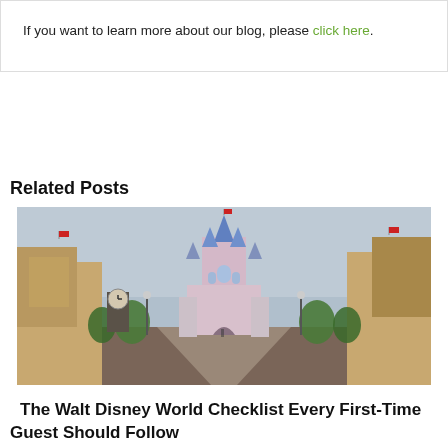If you want to learn more about our blog, please click here.
Related Posts
[Figure (photo): Photo of Main Street USA at Walt Disney World with Cinderella Castle in the background]
The Walt Disney World Checklist Every First-Time Guest Should Follow
JUL 26, 2022 / BY ADMIN